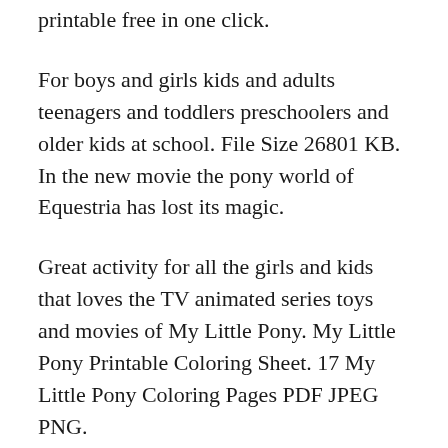printable free in one click.
For boys and girls kids and adults teenagers and toddlers preschoolers and older kids at school. File Size 26801 KB. In the new movie the pony world of Equestria has lost its magic.
Great activity for all the girls and kids that loves the TV animated series toys and movies of My Little Pony. My Little Pony Printable Coloring Sheet. 17 My Little Pony Coloring Pages PDF JPEG PNG.
My Little Pony Printables. They now not